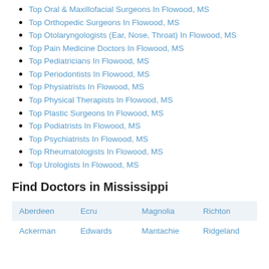Top Oral & Maxillofacial Surgeons In Flowood, MS
Top Orthopedic Surgeons In Flowood, MS
Top Otolaryngologists (Ear, Nose, Throat) In Flowood, MS
Top Pain Medicine Doctors In Flowood, MS
Top Pediatricians In Flowood, MS
Top Periodontists In Flowood, MS
Top Physiatrists In Flowood, MS
Top Physical Therapists In Flowood, MS
Top Plastic Surgeons In Flowood, MS
Top Podiatrists In Flowood, MS
Top Psychiatrists In Flowood, MS
Top Rheumatologists In Flowood, MS
Top Urologists In Flowood, MS
Find Doctors in Mississippi
| Aberdeen | Ecru | Magnolia | Richton |
| Ackerman | Edwards | Mantachie | Ridgeland |